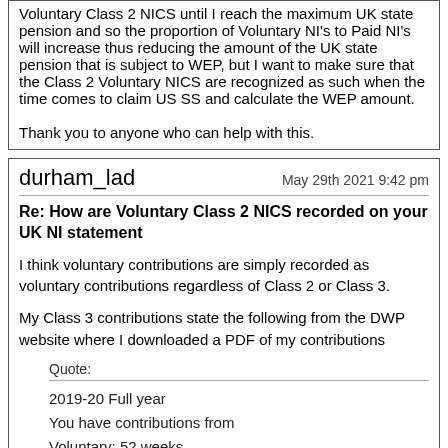Voluntary Class 2 NICS until I reach the maximum UK state pension and so the proportion of Voluntary NI's to Paid NI's will increase thus reducing the amount of the UK state pension that is subject to WEP, but I want to make sure that the Class 2 Voluntary NICS are recognized as such when the time comes to claim US SS and calculate the WEP amount.

Thank you to anyone who can help with this.
durham_lad
May 29th 2021 9:42 pm
Re: How are Voluntary Class 2 NICS recorded on your UK NI statement
I think voluntary contributions are simply recorded as voluntary contributions regardless of Class 2 or Class 3.
My Class 3 contributions state the following from the DWP website where I downloaded a PDF of my contributions
Quote:
2019-20 Full year
You have contributions from
Voluntary: 52 weeks
.
.
.
1007-00 Full...